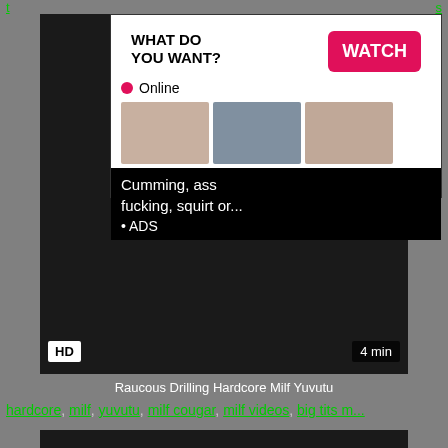[Figure (screenshot): Adult video website screenshot showing a video thumbnail with an advertisement overlay. The ad shows 'WHAT DO YOU WANT?' text, a pink WATCH button, an Online indicator with red dot, three small thumbnail images, and text 'Cumming, ass fucking, squirt or...' with ADS label. Main video area shows HD badge and 4 min duration.]
Raucous Drilling Hardcore Milf Yuvutu
hardcore, milf, yuvutu, milf cougar, milf videos, big tits m...